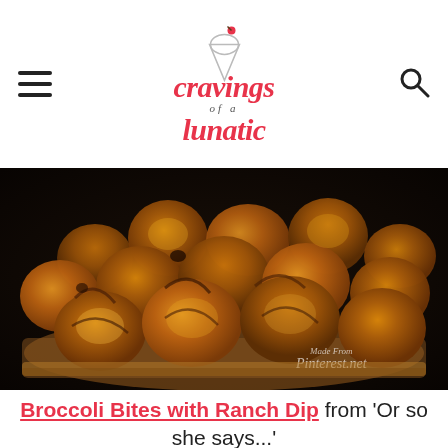Cravings of a Lunatic - navigation header with hamburger menu and search icon
[Figure (photo): Bacon-wrapped tater tot bites piled on a wooden serving platter, golden and crispy, with a watermark reading 'Made From Pinterest.net']
Broccoli Bites with Ranch Dip from 'Or so she says...'